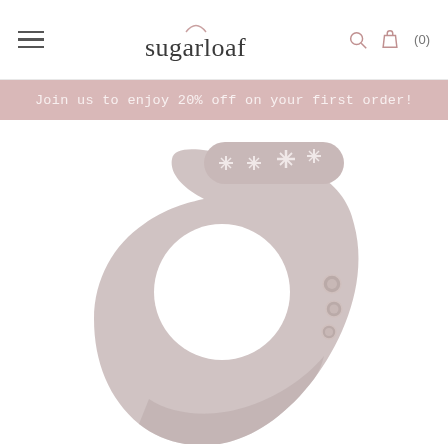sugarloaf — navigation header with hamburger menu, search icon, bag icon, and cart count (0)
Join us to enjoy 20% off on your first order!
[Figure (photo): Close-up product photo of a light mauve/taupe silicone baby bib with snap fasteners on the right side and star-shaped cutouts on the neck strap portion. The bib has a rounded crescent shape with a neck hole and slightly curled bottom edge.]